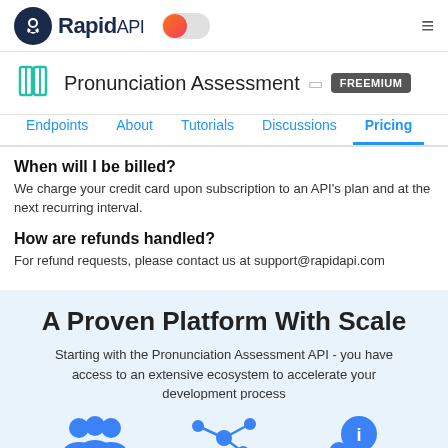[Figure (logo): RapidAPI logo with octopus icon and text, plus orange toggle switch and hamburger menu]
Pronunciation Assessment FREEMIUM
Endpoints  About  Tutorials  Discussions  Pricing
When will I be billed?
We charge your credit card upon subscription to an API's plan and at the next recurring interval.
How are refunds handled?
For refund requests, please contact us at support@rapidapi.com
A Proven Platform With Scale
Starting with the Pronunciation Assessment API - you have access to an extensive ecosystem to accelerate your development process
[Figure (illustration): Three blue user/people icons, a network/hub icon, and an information speech bubble icon]